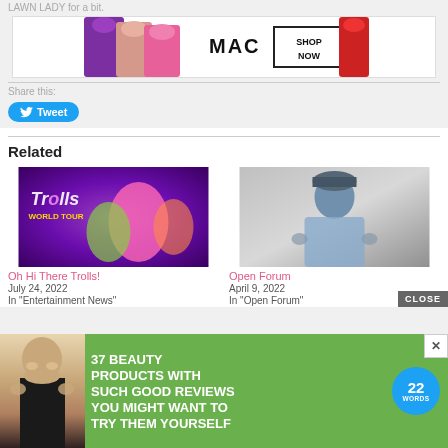LAWN LADY for a bit.
[Figure (photo): MAC Cosmetics advertisement showing lipsticks with 'SHOP NOW' button]
Share this:
Tweet
Related
[Figure (photo): Trolls World Tour movie promotional image]
Oh Hi There Trolls!
July 24, 2022
In "Entertainment News"
[Figure (photo): Man in traditional attire for Open Forum]
Open Forum
April 9, 2022
In "Open Forum"
[Figure (photo): 37 Beauty Products advertisement with woman and '22 Words' badge on green background]